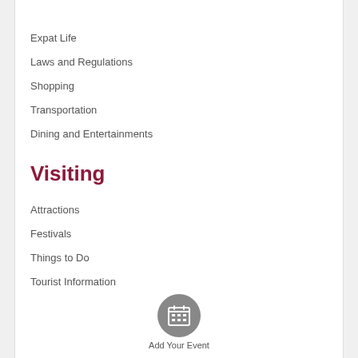Expat Life
Laws and Regulations
Shopping
Transportation
Dining and Entertainments
Visiting
Attractions
Festivals
Things to Do
Tourist Information
[Figure (illustration): Calendar/grid icon in a dark gray circle]
Add Your Event